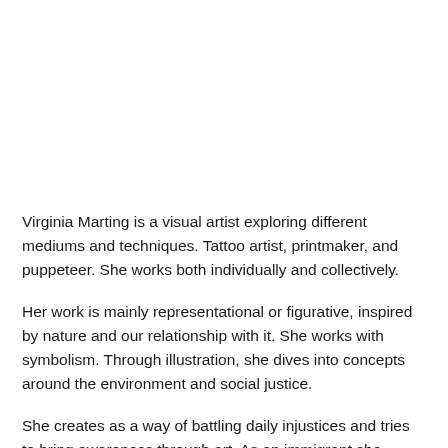Virginia Marting is a visual artist exploring different mediums and techniques. Tattoo artist, printmaker, and puppeteer. She works both individually and collectively.
Her work is mainly representational or figurative, inspired by nature and our relationship with it. She works with symbolism. Through illustration, she dives into concepts around the environment and social justice.
She creates as a way of battling daily injustices and tries to bring awareness through art. As an immigrant she stands with her community for the right to live in the place that we decided